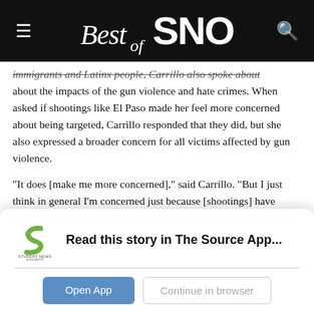Best of SNO
immigrants and Latinx people, Carrillo also spoke about about the impacts of the gun violence and hate crimes. When asked if shootings like El Paso made her feel more concerned about being targeted, Carrillo responded that they did, but she also expressed a broader concern for all victims affected by gun violence.
“It does [make me more concerned],” said Carrillo. “But I just think in general I’m concerned just because [shootings] have happened in so many different places.”
[Figure (logo): Student News Source app logo - green S shape with 'STUDENT NEWS SOURCE' text below]
Read this story in The Source App...
Open App
Continue in browser